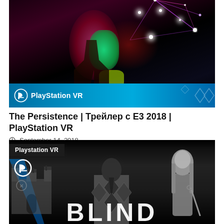[Figure (screenshot): PlayStation VR game screenshot showing a dark supernatural scene with a glowing creature, green glowing hand, and purple/pink energy web. PlayStation VR logo bar at bottom of image.]
The Persistence | Трейлер с E3 2018 | PlayStation VR
September 14, 2018
[Figure (screenshot): Black and white screenshot/promotional image for the game BLIND on PlayStation VR. Shows dark figures including a man in a diamond-patterned suit and a girl with long hair holding a cane. Large white 'BLIND' text at the bottom. 'Playstation VR' badge in top-left corner.]